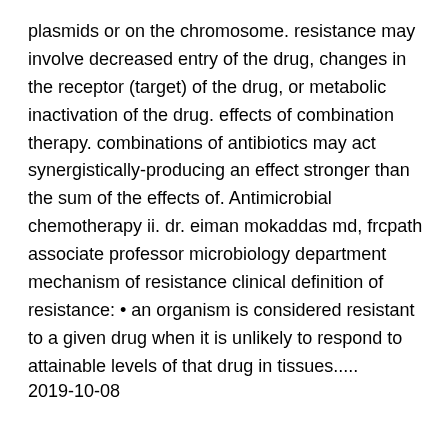plasmids or on the chromosome. resistance may involve decreased entry of the drug, changes in the receptor (target) of the drug, or metabolic inactivation of the drug. effects of combination therapy. combinations of antibiotics may act synergistically-producing an effect stronger than the sum of the effects of. Antimicrobial chemotherapy ii. dr. eiman mokaddas md, frcpath associate professor microbiology department mechanism of resistance clinical definition of resistance: • an organism is considered resistant to a given drug when it is unlikely to respond to attainable levels of that drug in tissues.....
2019-10-08